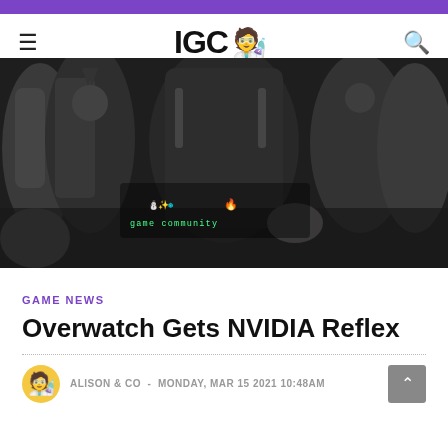IGC (purple top bar navigation with hamburger menu, logo IGC, and search icon)
[Figure (photo): Hero banner image showing multiple video game characters in black and white, including Batman, Donkey Kong, Mario, and others. Center has a colorful 'game community' logo/badge overlay.]
GAME NEWS
Overwatch Gets NVIDIA Reflex
ALISON & CO  -  MONDAY, MAR 15 2021 10:48AM